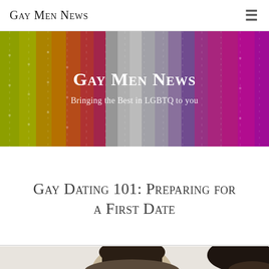Gay Men News
[Figure (photo): Rainbow-colored vertical ribbons/streamers banner with overlaid text 'Gay Men News' and subtitle 'Bringing the Best in LGBTQ to you']
Gay Dating 101: Preparing for a First Date
[Figure (photo): Two men photographed from shoulders up, one with dark hair visible clearly, another partially visible on the right edge]